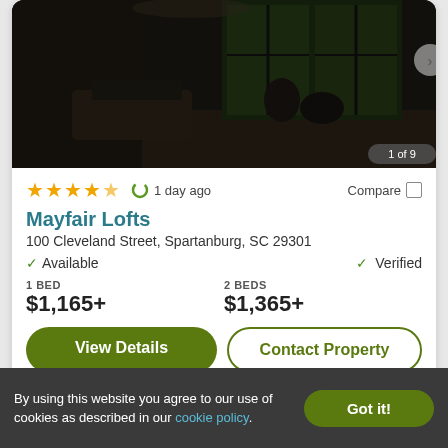[Figure (photo): Interior photo of Mayfair Lofts showing a dark living/lounge area with large windows, furniture, and exposed brick elements. Badge shows '1 of 9'.]
★★★★★ (4.5 stars)  1 day ago  Compare
Mayfair Lofts
100 Cleveland Street, Spartanburg, SC 29301
✓ Available   ✓ Verified
1 BED
$1,165+
2 BEDS
$1,365+
View Details   Contact Property
By using this website you agree to our use of cookies as described in our cookie policy.   Got it!